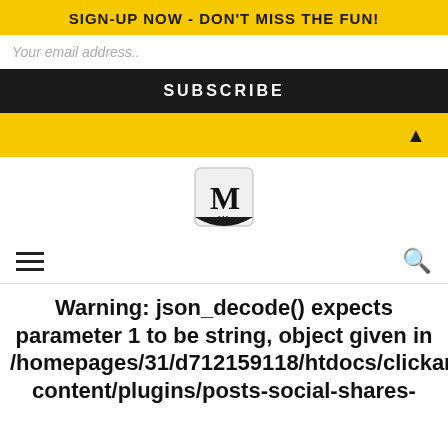SIGN-UP NOW - DON'T MISS THE FUN!
Your email address..
SUBSCRIBE
[Figure (logo): MU Media shield logo in black and white]
[Figure (other): Hamburger menu icon (three horizontal lines) and search icon]
Warning: json_decode() expects parameter 1 to be string, object given in /homepages/31/d712159118/htdocs/clickandbuilds/IMUMEDIA/wp-content/plugins/posts-social-shares-